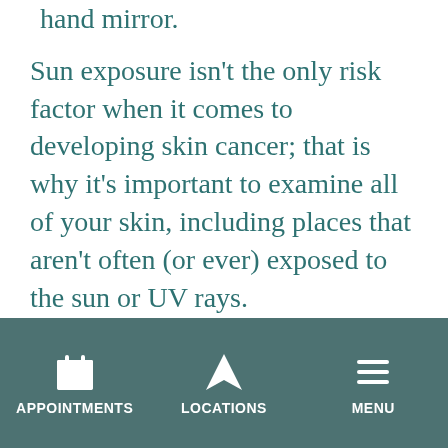hand mirror.
Sun exposure isn't the only risk factor when it comes to developing skin cancer; that is why it's important to examine all of your skin, including places that aren't often (or ever) exposed to the sun or UV rays.
After the exam, it's important to take note of your findings. An easy and effective way to do this is by downloading a Body Map to track new spots or changes in existing spots. On a printed
APPOINTMENTS   LOCATIONS   MENU